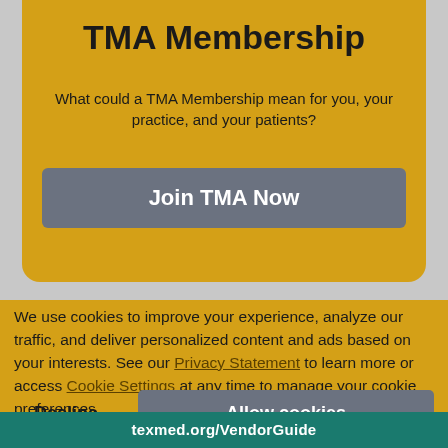TMA Membership
What could a TMA Membership mean for you, your practice, and your patients?
Join TMA Now
We use cookies to improve your experience, analyze our traffic, and deliver personalized content and ads based on your interests. See our Privacy Statement to learn more or access Cookie Settings at any time to manage your cookie preferences.
Decline
Allow cookies
texmed.org/VendorGuide